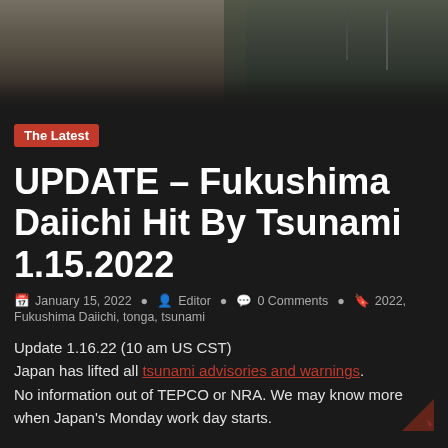[Figure (photo): Dark outdoor scene, appears to show an industrial or coastal area, dark sky and structures visible]
The Latest
UPDATE – Fukushima Daiichi Hit By Tsunami 1.15.2022
January 15, 2022  Editor  0 Comments  2022, Fukushima Daiichi, tonga, tsunami
Update 1.16.22 (10 am US CST)
Japan has lifted all tsunami advisories and warnings.
No information out of TEPCO or NRA. We may know more when Japan's Monday work day starts.